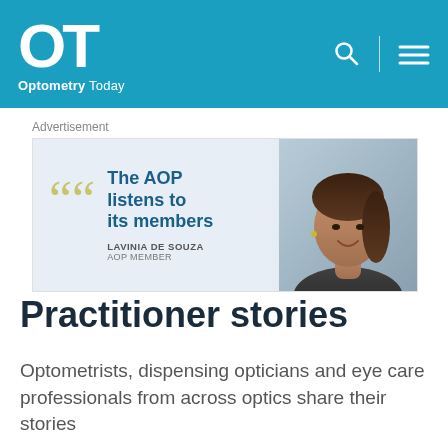OT Optometry Today
[Figure (screenshot): AOP advertisement banner showing 'The AOP listens to its members' with a photo of Lavinia De Souza, AOP Member]
Advertisement
Practitioner stories
Optometrists, dispensing opticians and eye care professionals from across optics share their stories